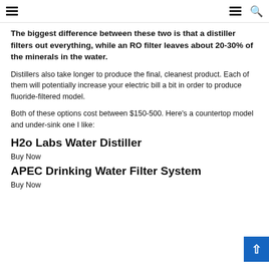Navigation header with hamburger menu icons and search icon
The biggest difference between these two is that a distiller filters out everything, while an RO filter leaves about 20-30% of the minerals in the water.
Distillers also take longer to produce the final, cleanest product. Each of them will potentially increase your electric bill a bit in order to produce fluoride-filtered model.
Both of these options cost between $150-500. Here’s a countertop model and under-sink one I like:
H2o Labs Water Distiller
Buy Now
APEC Drinking Water Filter System
Buy Now